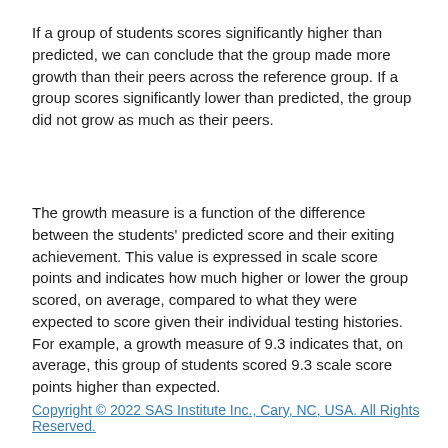If a group of students scores significantly higher than predicted, we can conclude that the group made more growth than their peers across the reference group. If a group scores significantly lower than predicted, the group did not grow as much as their peers.
The growth measure is a function of the difference between the students' predicted score and their exiting achievement. This value is expressed in scale score points and indicates how much higher or lower the group scored, on average, compared to what they were expected to score given their individual testing histories. For example, a growth measure of 9.3 indicates that, on average, this group of students scored 9.3 scale score points higher than expected.
Copyright © 2022 SAS Institute Inc., Cary, NC, USA. All Rights Reserved.